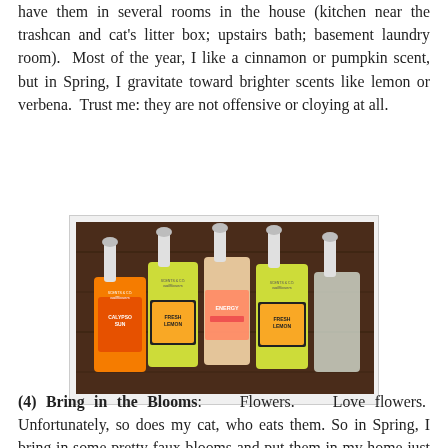have them in several rooms in the house (kitchen near the trashcan and cat's litter box; upstairs bath; basement laundry room). Most of the year, I like a cinnamon or pumpkin scent, but in Spring, I gravitate toward brighter scents like lemon or verbena. Trust me: they are not offensive or cloying at all.
[Figure (photo): Several Bath & Body Works Wallflowers fragrance refill plugs in various scents including Calypso Sun, Fresh Lemon, Energy, arranged on a dark wood surface.]
(4) Bring in the Blooms: Flowers. Love flowers. Unfortunately, so does my cat, who eats them. So in Spring, I bring in some pretty faux blooms and put them in my home just for a punch of pretty. Michael's carries very life-like